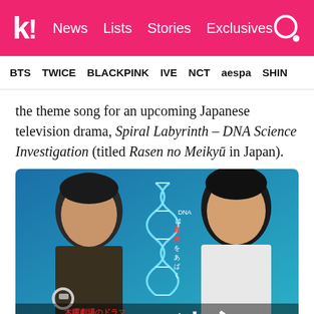k! News Lists Stories Exclusives
BTS TWICE BLACKPINK IVE NCT aespa SHIN
the theme song for an upcoming Japanese television drama, Spiral Labyrinth – DNA Science Investigation (titled Rasen no Meikyū in Japan).
[Figure (photo): Promotional poster for the Japanese TV drama 'Rasen no Meikyū' (Spiral Labyrinth – DNA Science Investigation), showing two male actors with a DNA double helix graphic in the center, Japanese text at the bottom.]